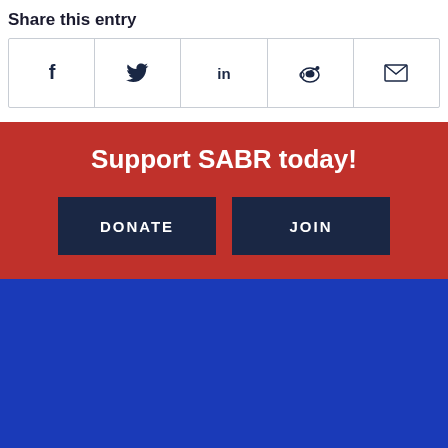Share this entry
[Figure (infographic): Row of social share icons: Facebook (f), Twitter bird, LinkedIn (in), Reddit alien, Email envelope]
Support SABR today!
DONATE
JOIN
[Figure (logo): SABR logo: diamond shape with baseball and text 'SABR' inside, next to text 'SOCIETY FOR AMERICAN BASEBALL RESEARCH']